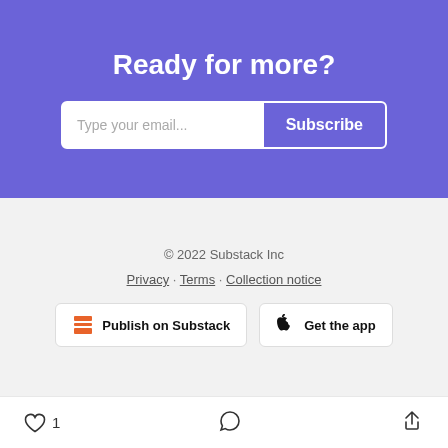Ready for more?
Type your email... Subscribe
© 2022 Substack Inc
Privacy · Terms · Collection notice
Publish on Substack
Get the app
1  [comment]  [share]